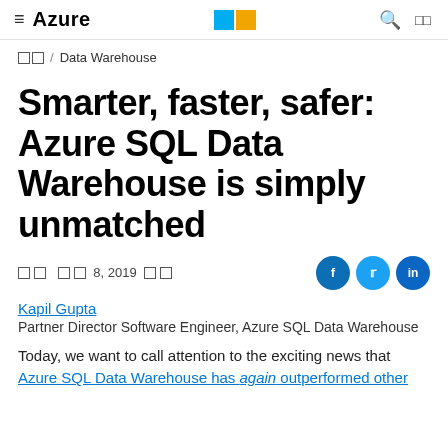≡ Azure | [Microsoft logo] | 🔍 ◫
◫◫ / Data Warehouse
Smarter, faster, safer: Azure SQL Data Warehouse is simply unmatched
◫◫ ◫◫ 8, 2019 ◫◫
Kapil Gupta
Partner Director Software Engineer, Azure SQL Data Warehouse
Today, we want to call attention to the exciting news that Azure SQL Data Warehouse has again outperformed other